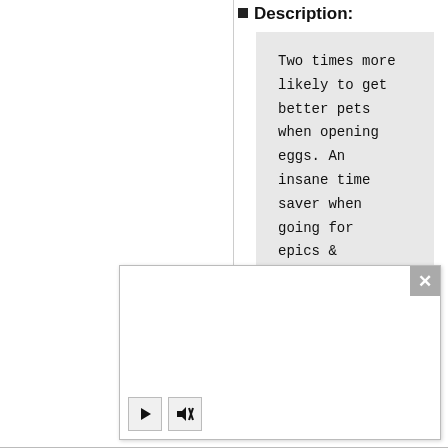Description:
Two times more likely to get better pets when opening eggs. An insane time saver when going for epics & legendary
[Figure (screenshot): A video player overlay panel with a white background, a gray close (X) button in the top-right corner, an empty video area, and a controls bar at the bottom with a play button and a mute/unmute button.]